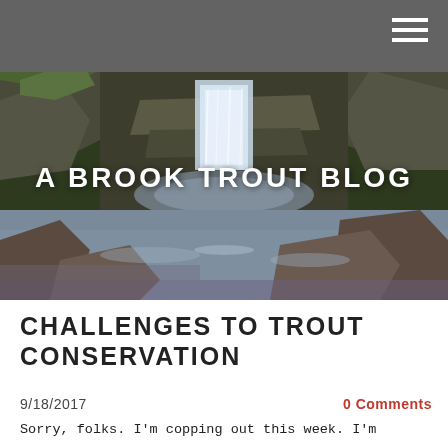[Figure (photo): Forest waterfall scene with mossy rocks and a stream, used as hero banner image for 'A Brook Trout Blog']
A BROOK TROUT BLOG
CHALLENGES TO TROUT CONSERVATION
9/18/2017
0 Comments
Sorry, folks. I'm copping out this week. I'm